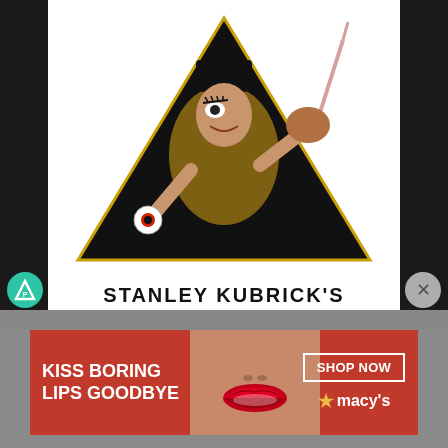[Figure (illustration): A Clockwork Orange movie poster by Stanley Kubrick — figure of Malcolm McDowell in bowler hat inside a black triangle, holding a cane and eyeball figure, pointing toward viewer. Bold text at bottom reads STANLEY KUBRICK'S.]
STANLEY KUBRICK'S
[Figure (illustration): Advertisement banner for Macy's cosmetics — red background, woman's face with red lips, text 'KISS BORING LIPS GOODBYE', 'SHOP NOW' button, Macy's star logo.]
KISS BORING LIPS GOODBYE
SHOP NOW
★ macy's